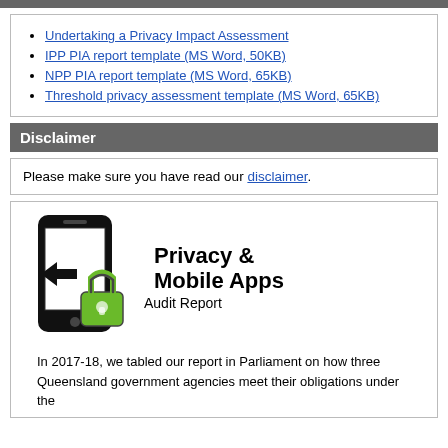Undertaking a Privacy Impact Assessment
IPP PIA report template (MS Word, 50KB)
NPP PIA report template (MS Word, 65KB)
Threshold privacy assessment template (MS Word, 65KB)
Disclaimer
Please make sure you have read our disclaimer.
[Figure (illustration): Smartphone with left arrow on screen and green padlock, with text 'Privacy & Mobile Apps Audit Report']
In 2017-18, we tabled our report in Parliament on how three Queensland government agencies meet their obligations under the